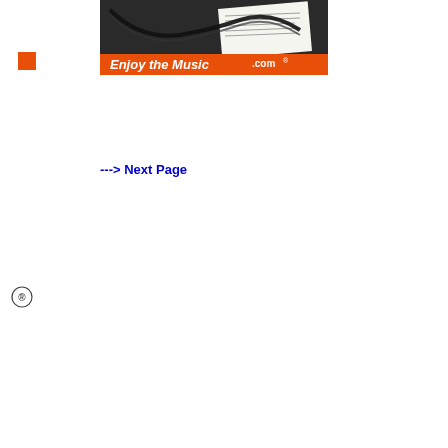[Figure (photo): Photo of audio cables/headphone cables with a card showing 'Enjoy the Music.com' branding on an orange banner at the bottom, set against a dark background]
---> Next Page
[Figure (logo): Enjoy the Music.com vertical logo in orange text with registered trademark symbol, showing 'Enjo' at top and '.com' rotated vertically at bottom left sidebar]